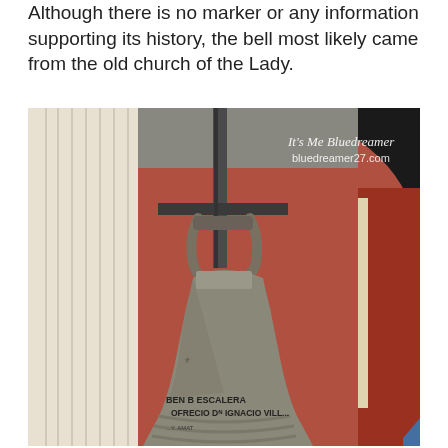Although there is no marker or any information supporting its history, the bell most likely came from the old church of the Lady.
[Figure (photo): Close-up photograph of a large old bronze/metal church bell mounted on a metal bar, with decorative mounting hardware at the top. The bell has inscriptions near the bottom reading 'BEN B ESCALERA' and 'OFRECIO DN IGNACIO VILLA...' partially visible. Behind the bell is a white classical column and a dark archway structure on the right, with a reddish wall visible in background. A watermark in the upper right reads 'It's Me Bluedreamer bluedreamer27.com'.]